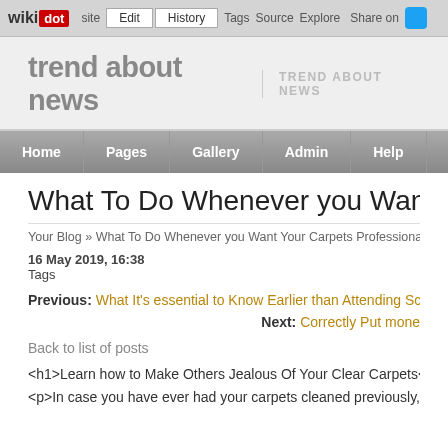wikidot | Edit | History | Tags | Source | Explore | Share on [Twitter]
trend about news | TREND ABOUT NEWS
Home | Pages | Gallery | Admin | Help
What To Do Whenever you Want Your Ca
Your Blog » What To Do Whenever you Want Your Carpets Professionall
16 May 2019, 16:38
Tags
Previous: What It's essential to Know Earlier than Attending Scho
Next: Correctly Put mone
Back to list of posts
<h1>Learn how to Make Others Jealous Of Your Clear Carpets</h1>
<p>In case you have ever had your carpets cleaned previously, then